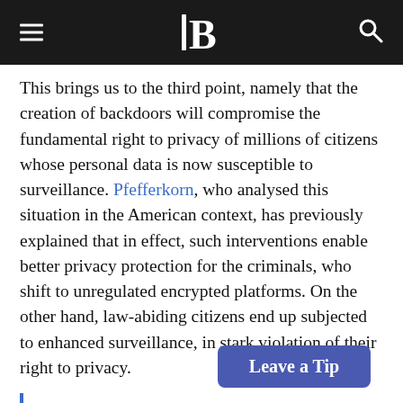B (logo)
This brings us to the third point, namely that the creation of backdoors will compromise the fundamental right to privacy of millions of citizens whose personal data is now susceptible to surveillance. Pfefferkorn, who analysed this situation in the American context, has previously explained that in effect, such interventions enable better privacy protection for the criminals, who shift to unregulated encrypted platforms. On the other hand, law-abiding citizens end up subjected to enhanced surveillance, in stark violation of their right to privacy.
Leave a Tip
The  seminal security reportKeys Under Doormats puts it best: "demands for exceptional access to private communications and data shows that such access will